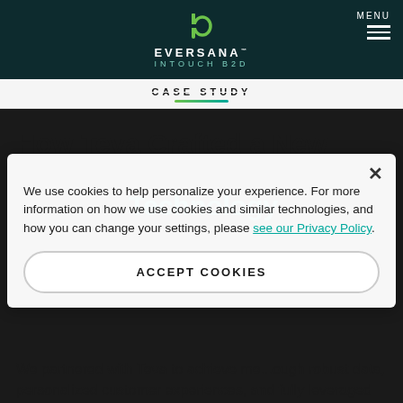[Figure (logo): EVERSANA INTOUCH B2D logo with green 'b' icon on dark teal header background, with MENU hamburger icon top right]
CASE STUDY
How Teva Crafted a New Strategic Vision With Existing Technology
We use cookies to help personalize your experience. For more information on how we use cookies and similar technologies, and how you can change your settings, please see our Privacy Policy.
ACCEPT COOKIES
We partnered with Teva to achieve m...ough robust data, personalized customer experiences, and fully leveraged